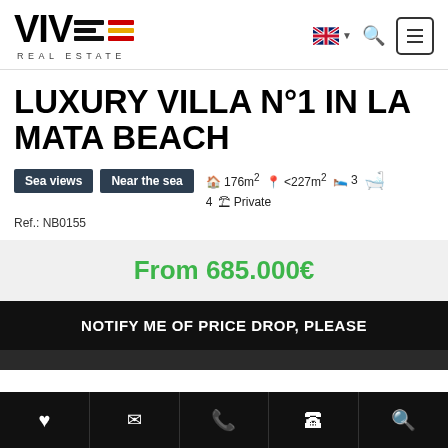[Figure (logo): VIVE Real Estate logo with stylized horizontal lines in black and red/yellow (Spanish flag colors), text REAL ESTATE below]
LUXURY VILLA N°1 IN LA MATA BEACH
Sea views   Near the sea   176m²   <227m²   3   4   Private   Ref.: NB0155
From 685.000€
NOTIFY ME OF PRICE DROP, PLEASE